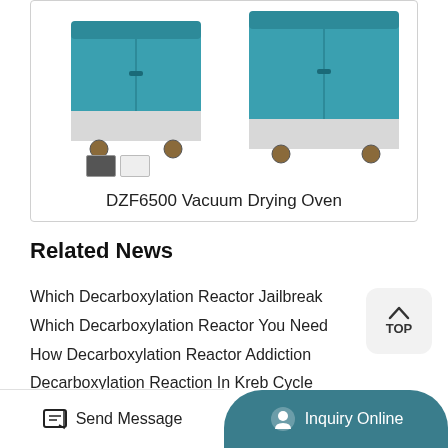[Figure (photo): DZF6500 Vacuum Drying Oven product image showing two teal/blue oven units with wheels]
DZF6500 Vacuum Drying Oven
Related News
Which Decarboxylation Reactor Jailbreak
Which Decarboxylation Reactor You Need
How Decarboxylation Reactor Addiction
Decarboxylation Reaction In Kreb Cycle
Decarboxylation Reactor Technology
Which Decarboxylation Reactor Xenon
Send Message | Inquiry Online